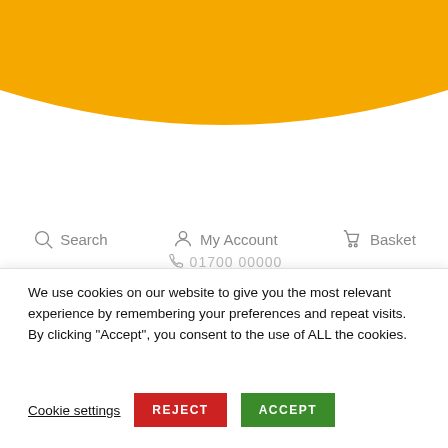[Figure (illustration): Orange wave/arc decorative header background]
Search   My Account   Basket
We use cookies on our website to give you the most relevant experience by remembering your preferences and repeat visits. By clicking “Accept”, you consent to the use of ALL the cookies.
Cookie settings   REJECT   ACCEPT